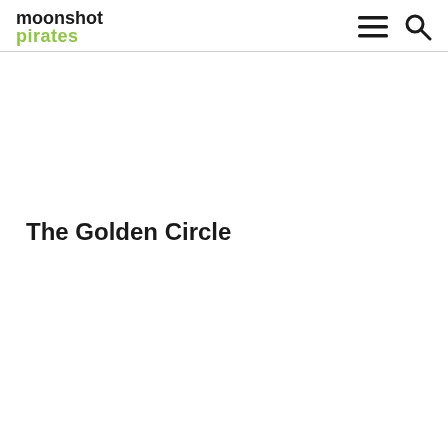moonshot pirates
The Golden Circle